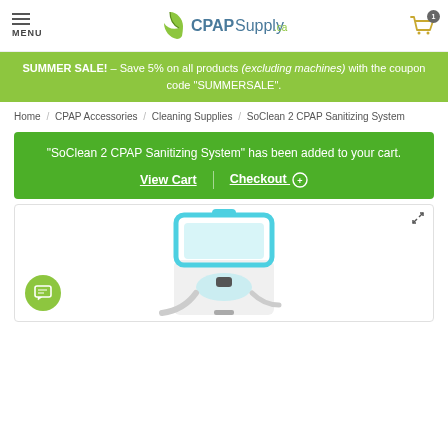MENU  CPAPSupply.ca  [cart: 1]
SUMMER SALE! – Save 5% on all products (excluding machines) with the coupon code "SUMMERSALE".
Home / CPAP Accessories / Cleaning Supplies / SoClean 2 CPAP Sanitizing System
"SoClean 2 CPAP Sanitizing System" has been added to your cart.
View Cart  |  Checkout ⊕
[Figure (photo): SoClean 2 CPAP Sanitizing System product photo — a white and teal colored box-shaped device with CPAP tubing and mask inside, shown with the lid open.]